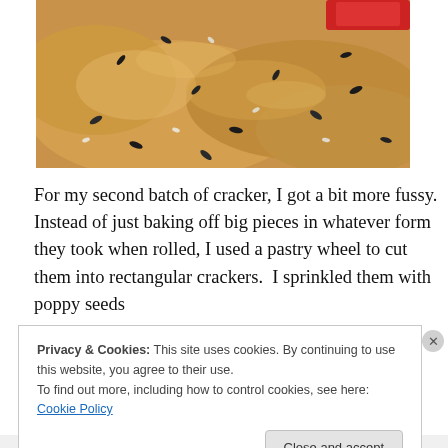[Figure (photo): Close-up photo of rustic seeded crackers or bread, topped with black sesame/sunflower seeds and white seeds, with a red container partially visible in the top right corner.]
For my second batch of cracker, I got a bit more fussy. Instead of just baking off big pieces in whatever form they took when rolled, I used a pastry wheel to cut them into rectangular crackers.  I sprinkled them with poppy seeds
Privacy & Cookies: This site uses cookies. By continuing to use this website, you agree to their use.
To find out more, including how to control cookies, see here: Cookie Policy
Close and accept